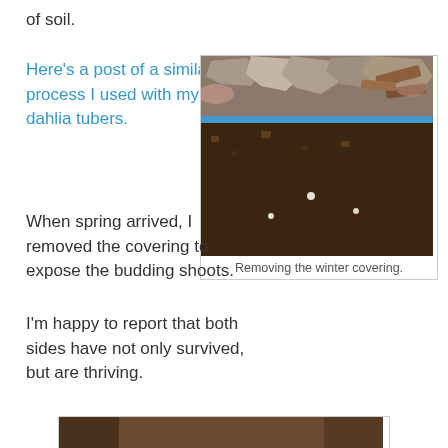of soil.
Here's a post of a similar process I used with my dahlia tubers.
When spring arrived, I removed the covering to expose the budding shoots.
I'm happy to report that both sides have not only survived, but are thriving.
[Figure (photo): Overhead view of soil in a blue container with winter covering being removed, showing bark/mulch debris on top of dark soil]
Removing the winter covering.
[Figure (photo): Blue pot containing dark soil with multiple small green leafy plants (geranium seedlings) growing, placed on wooden surface]